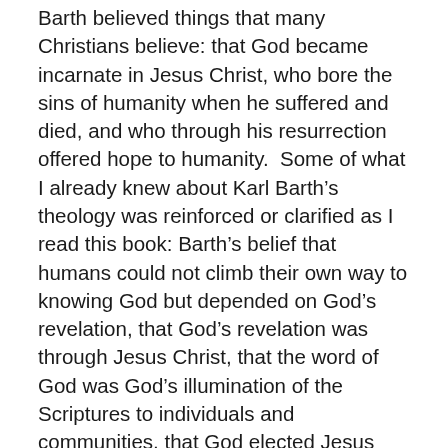Barth believed things that many Christians believe: that God became incarnate in Jesus Christ, who bore the sins of humanity when he suffered and died, and who through his resurrection offered hope to humanity.  Some of what I already knew about Karl Barth's theology was reinforced or clarified as I read this book: Barth's belief that humans could not climb their own way to knowing God but depended on God's revelation, that God's revelation was through Jesus Christ, that the word of God was God's illumination of the Scriptures to individuals and communities, that God elected Jesus Christ and that all of humanity is in him (implying universalism, according to some), and that the Old and New Testaments testify to Jesus Christ.  The Old Testament does so restrospectively, while also maintaining its own meaning within its original historical and literary contexts.